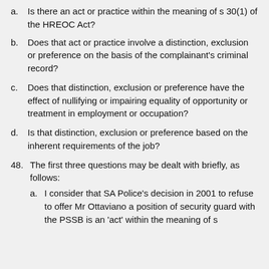a. Is there an act or practice within the meaning of s 30(1) of the HREOC Act?
b. Does that act or practice involve a distinction, exclusion or preference on the basis of the complainant's criminal record?
c. Does that distinction, exclusion or preference have the effect of nullifying or impairing equality of opportunity or treatment in employment or occupation?
d. Is that distinction, exclusion or preference based on the inherent requirements of the job?
48. The first three questions may be dealt with briefly, as follows:
a. I consider that SA Police's decision in 2001 to refuse to offer Mr Ottaviano a position of security guard with the PSSB is an 'act' within the meaning of s